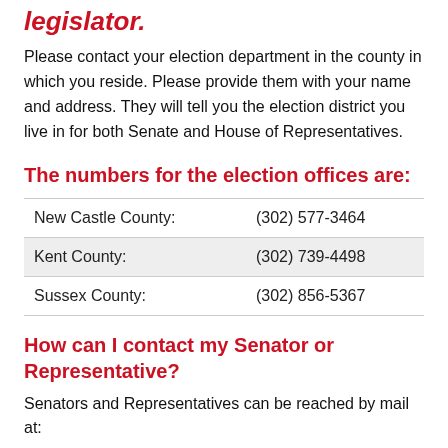legislator.
Please contact your election department in the county in which you reside. Please provide them with your name and address. They will tell you the election district you live in for both Senate and House of Representatives.
The numbers for the election offices are:
| New Castle County: | (302) 577-3464 |
| Kent County: | (302) 739-4498 |
| Sussex County: | (302) 856-5367 |
How can I contact my Senator or Representative?
Senators and Representatives can be reached by mail at:
P.O. Box 1401